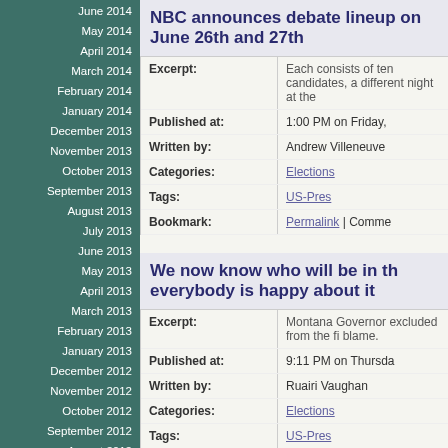June 2014
May 2014
April 2014
March 2014
February 2014
January 2014
December 2013
November 2013
October 2013
September 2013
August 2013
July 2013
June 2013
May 2013
April 2013
March 2013
February 2013
January 2013
December 2012
November 2012
October 2012
September 2012
August 2012
July 2012
June 2012
May 2012
April 2012
March 2012
February 2012
January 2012
NBC announces debate lineup on June 26th and 27th
| Field | Value |
| --- | --- |
| Excerpt: | Each consists of ten candidates, a different night at the |
| Published at: | 1:00 PM on Friday, |
| Written by: | Andrew Villeneuve |
| Categories: | Elections |
| Tags: | US-Pres |
| Bookmark: | Permalink | Comme |
We now know who will be in th everybody is happy about it
| Field | Value |
| --- | --- |
| Excerpt: | Montana Governor excluded from the fi blame. |
| Published at: | 9:11 PM on Thursda |
| Written by: | Ruairi Vaughan |
| Categories: | Elections |
| Tags: | US-Pres |
| Bookmark: | Permalink | Comme |